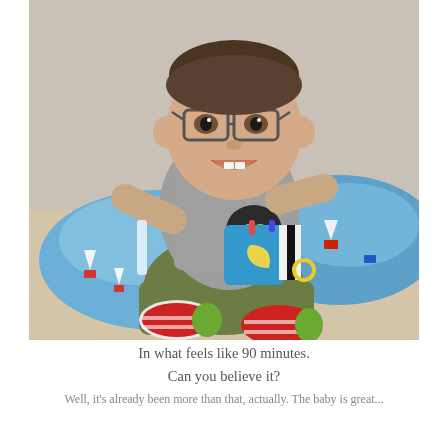[Figure (photo): A smiling baby wearing glasses and a gray '12' shirt, sitting against a blue nursing pillow, holding a colorful toy, wearing red-striped socks with green toes]
In what feels like 90 minutes.
Can you believe it?
Well, it's already been more than that, actually. The baby is great...